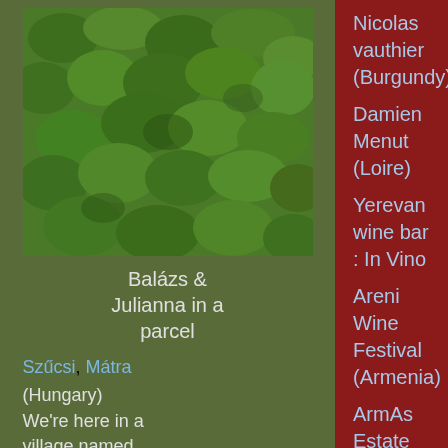[Figure (photo): Green leafy vineyard parcel aerial or close-up view]
Balázs & Julianna in a parcel
Szűcsi, Mátra (Hungary) We're here in a village named Szűcsi (pronounce sweetchie or something like that) which sits along a gentle slope
Nicolas vauthier (Burgundy)
Damien Menut (Loire)
Yerevan wine bar : In Vino
Areni Wine Festival (Armenia)
ArmAs Estate (Armenia)
Voskevaz winery (Armenia)
Armenia Wine Factory
Van Ardi winery (Armenia)
The Haquet sisters, pioneers of natural wine
Adrien De Mello (Loire)
Emily Dilling, American brewer in the Loire
Les Vignes de Babass (Loire)